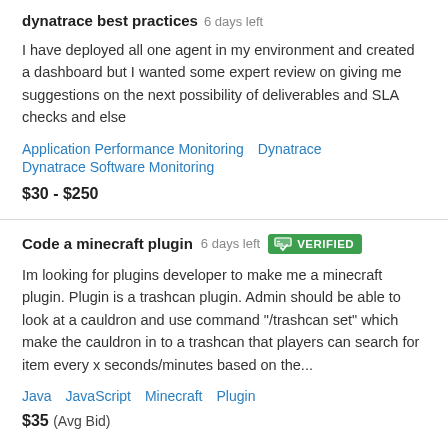dynatrace best practices  6 days left
I have deployed all one agent in my environment and created a dashboard but I wanted some expert review on giving me suggestions on the next possibility of deliverables and SLA checks and else
Application Performance Monitoring   Dynatrace   Dynatrace Software Monitoring
$30 - $250
Code a minecraft plugin  6 days left  VERIFIED
Im looking for plugins developer to make me a minecraft plugin. Plugin is a trashcan plugin. Admin should be able to look at a cauldron and use command "/trashcan set" which make the cauldron in to a trashcan that players can search for item every x seconds/minutes based on the...
Java   JavaScript   Minecraft   Plugin
$35  (Avg Bid)